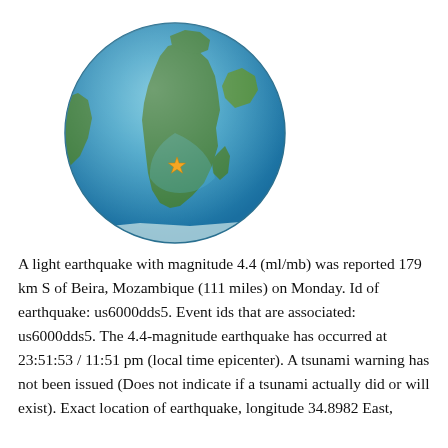[Figure (map): Globe showing Earth centered on Africa and the Indian Ocean, with an orange star marker indicating the earthquake epicenter approximately 179 km south of Beira, Mozambique.]
A light earthquake with magnitude 4.4 (ml/mb) was reported 179 km S of Beira, Mozambique (111 miles) on Monday. Id of earthquake: us6000dds5. Event ids that are associated: us6000dds5. The 4.4-magnitude earthquake has occurred at 23:51:53 / 11:51 pm (local time epicenter). A tsunami warning has not been issued (Does not indicate if a tsunami actually did or will exist). Exact location of earthquake, longitude 34.8982 East,